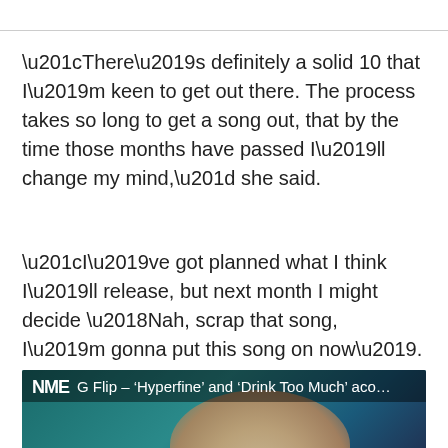“There’s definitely a solid 10 that I’m keen to get out there. The process takes so long to get a song out, that by the time those months have passed I’ll change my mind,” she said.
“I’ve got planned what I think I’ll release, but next month I might decide ‘Nah, scrap that song, I’m gonna put this song on now’. It kind of always changes.”
[Figure (screenshot): Video thumbnail showing NME logo and title text 'G Flip – ‘Hyperfine’ and ‘Drink Too Much’ aco...' overlaid on a teal/dark background with a person visible at the bottom]